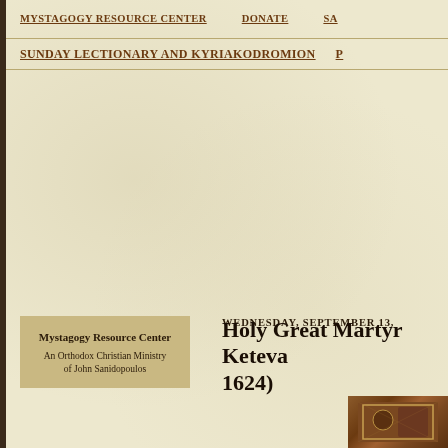MYSTAGOGY RESOURCE CENTER    DONATE    SA...
SUNDAY LECTIONARY AND KYRIAKODROMION    P...
WEDNESDAY, SEPTEMBER 13,
Holy Great Martyr Keteva... 1624)
[Figure (logo): Mystagogy Resource Center logo box - tan/gold background with text: Mystagogy Resource Center, An Orthodox Christian Ministry of John Sanidopoulos]
[Figure (illustration): Religious icon image partially visible at bottom right corner, dark warm tones with decorative elements]